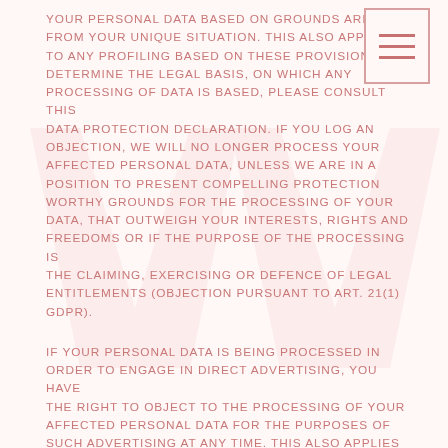YOUR PERSONAL DATA BASED ON GROUNDS ARISING FROM YOUR UNIQUE SITUATION. THIS ALSO APPLIES TO ANY PROFILING BASED ON THESE PROVISIONS. TO DETERMINE THE LEGAL BASIS, ON WHICH ANY PROCESSING OF DATA IS BASED, PLEASE CONSULT THIS DATA PROTECTION DECLARATION. IF YOU LOG AN OBJECTION, WE WILL NO LONGER PROCESS YOUR AFFECTED PERSONAL DATA, UNLESS WE ARE IN A POSITION TO PRESENT COMPELLING PROTECTION WORTHY GROUNDS FOR THE PROCESSING OF YOUR DATA, THAT OUTWEIGH YOUR INTERESTS, RIGHTS AND FREEDOMS OR IF THE PURPOSE OF THE PROCESSING IS THE CLAIMING, EXERCISING OR DEFENCE OF LEGAL ENTITLEMENTS (OBJECTION PURSUANT TO ART. 21(1) GDPR).
IF YOUR PERSONAL DATA IS BEING PROCESSED IN ORDER TO ENGAGE IN DIRECT ADVERTISING, YOU HAVE THE RIGHT TO OBJECT TO THE PROCESSING OF YOUR AFFECTED PERSONAL DATA FOR THE PURPOSES OF SUCH ADVERTISING AT ANY TIME. THIS ALSO APPLIES TO PROFILING TO THE EXTENT THAT IT IS AFFILIATED